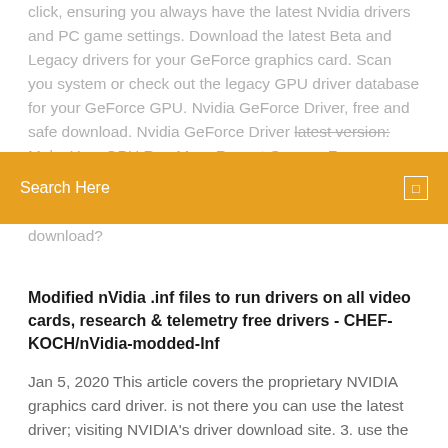click, ensuring you always have the latest Nvidia drivers and PC game settings. Download the latest Beta and Legacy drivers for your GeForce graphics card. Scan you system or check out the legacy GPU driver database for your GeForce GPU. Nvidia GeForce Driver, free and safe download. Nvidia GeForce Driver latest version: Make Your GPU Run More Recent Games. For
Search Here
download?
Modified nVidia .inf files to run drivers on all video cards, research & telemetry free drivers - CHEF-KOCH/nVidia-modded-Inf
Jan 5, 2020 This article covers the proprietary NVIDIA graphics card driver. is not there you can use the latest driver; visiting NVIDIA's driver download site. 3. use the Nouveau driver, which supports the old cards with the current Xorg. Oct 23, 2019 It is recommended to install the nvidia-driver package. For older